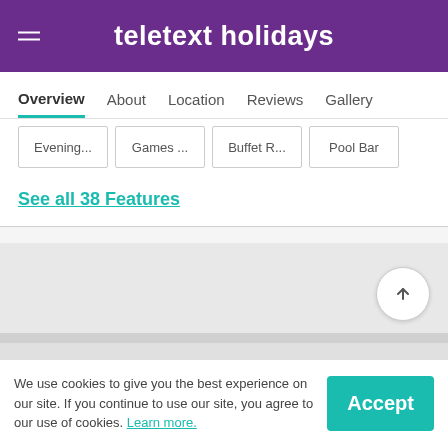teletext holidays
Overview  About  Location  Reviews  Gallery
Evening...   Games ...   Buffet R...   Pool Bar
See all 38 Features
We use cookies to give you the best experience on our site. If you continue to use our site, you agree to our use of cookies. Learn more.
Accept